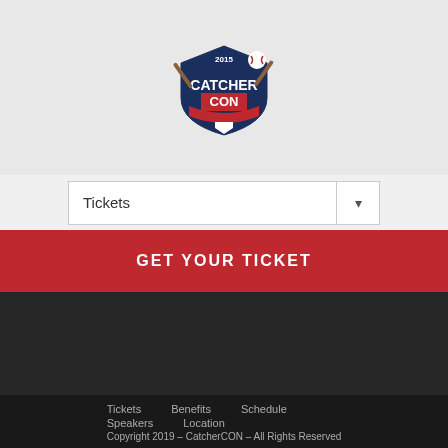[Figure (logo): CatcherCON 2015 logo — baseball-themed shield with bats and ball, red and navy blue color scheme]
Tickets
GET YOUR TICKET
SOCIAL MEDIA
[Figure (infographic): Row of five social media icon boxes: Facebook, Twitter, Instagram, LinkedIn, YouTube — dark gray square buttons with white icons]
Tickets   Benefits   Schedule   Speakers   Location   Copyright 2019 – CatcherCON – All Rights Reserved